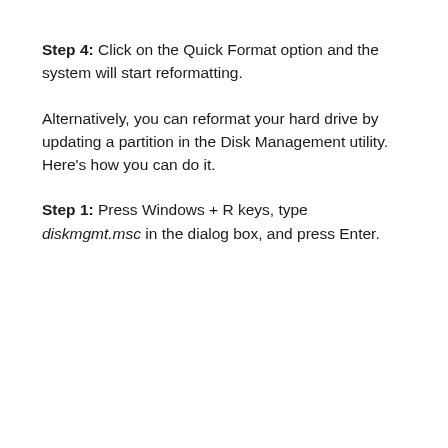Step 4: Click on the Quick Format option and the system will start reformatting.
Alternatively, you can reformat your hard drive by updating a partition in the Disk Management utility. Here's how you can do it.
Step 1: Press Windows + R keys, type diskmgmt.msc in the dialog box, and press Enter.